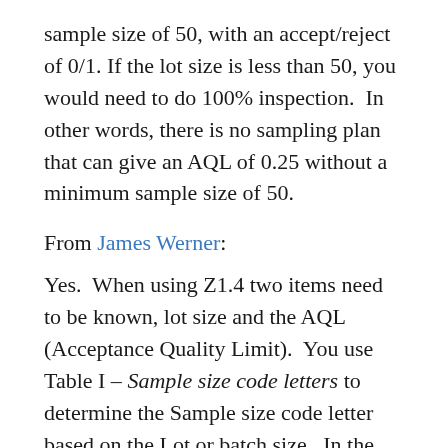sample size of 50, with an accept/reject of 0/1. If the lot size is less than 50, you would need to do 100% inspection.  In other words, there is no sampling plan that can give an AQL of 0.25 without a minimum sample size of 50.
From James Werner:
Yes.  When using Z1.4 two items need to be known, lot size and the AQL (Acceptance Quality Limit).  You use Table I – Sample size code letters to determine the Sample size code letter based on the Lot or batch size.  In the question below that was determined to be “D”. Next step is to use Table II-A to find the sample size related to the sample size code